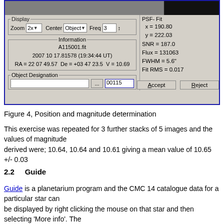[Figure (screenshot): Astronomy software dialog showing Display controls (Zoom 2x, Center Object, Freq 3), Information panel (A115001.fit, 2007 10 17.81578 (19:34:44 UT), RA = 22 07 49.57 De = +03 47 23.5 V = 10.69), PSF-Fit panel (x=190.80, y=222.03, SNR=187.0, Flux=131063, FWHM=5.6'', Fit RMS=0.017), Object Designation field with value 00115, and Accept/Reject buttons.]
Figure 4, Position and magnitude determination
This exercise was repeated for 3 further stacks of 5 images and the values of magnitude derived were; 10.64, 10.64 and 10.61 giving a mean value of 10.65 +/- 0.03
2.2     Guide
Guide is a planetarium program and the CMC 14 catalogue data for a particular star can be displayed by right clicking the mouse on that star and then selecting 'More info'. The CMC data is then displayed as shown in Figure 5.